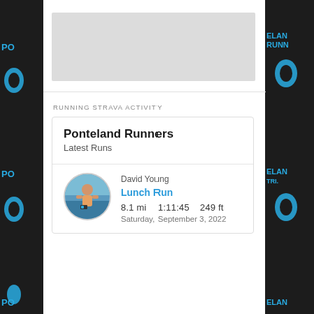[Figure (photo): Gray placeholder image rectangle at top of white column]
RUNNING STRAVA ACTIVITY
Ponteland Runners
Latest Runs
[Figure (photo): Circular avatar photo of David Young, a person outdoors]
David Young
Lunch Run
8.1 mi    1:11:45    249 ft
Saturday, September 3, 2022